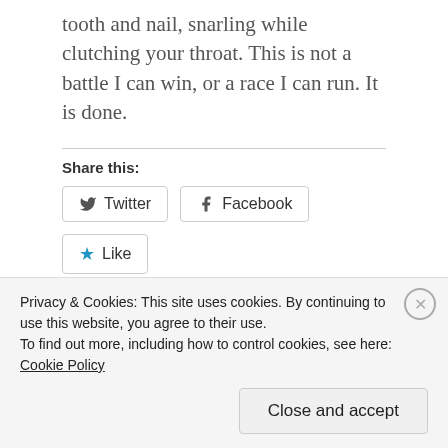tooth and nail, snarling while clutching your throat. This is not a battle I can win, or a race I can run. It is done.
Share this:
[Figure (screenshot): Twitter and Facebook share buttons]
[Figure (screenshot): Like button with star icon]
Be the first to like this.
Privacy & Cookies: This site uses cookies. By continuing to use this website, you agree to their use.
To find out more, including how to control cookies, see here: Cookie Policy
Close and accept